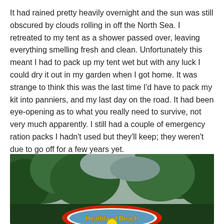It had rained pretty heavily overnight and the sun was still obscured by clouds rolling in off the North Sea. I retreated to my tent as a shower passed over, leaving everything smelling fresh and clean. Unfortunately this meant I had to pack up my tent wet but with any luck I could dry it out in my garden when I got home. It was strange to think this was the last time I'd have to pack my kit into panniers, and my last day on the road. It had been eye-opening as to what you really need to survive, not very much apparently. I still had a couple of emergency ration packs I hadn't used but they'll keep; they weren't due to go off for a few years yet.
[Figure (photo): A photograph showing a green tree canopy against an overcast sky, with the bottom portion of a colorful sign reading 'Heathland Beach' visible at the bottom of the image, featuring a red border and yellow text.]